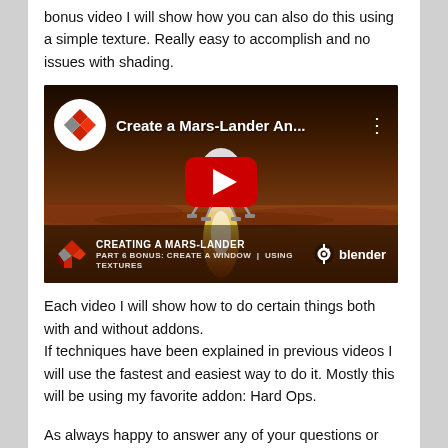bonus video I will show how you can also do this using a simple texture. Really easy to accomplish and no issues with shading.
[Figure (screenshot): YouTube video thumbnail for 'Create a Mars-Lander An...' showing a Mars lander spacecraft above the Martian surface with a rocket flame, with a red YouTube play button in the center. Bottom overlay shows 'CREATING A MARS-LANDER PART 6 BONUS: CREATE A WINDOW USING TEXTURES' and a Blender logo.]
Each video I will show how to do certain things both with and without addons.
If techniques have been explained in previous videos I will use the fastest and easiest way to do it. Mostly this will be using my favorite addon: Hard Ops.
As always happy to answer any of your questions or remarks. Don't forget to like and subscribe to the channel